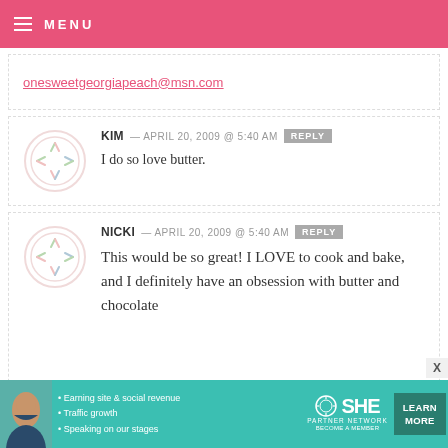MENU
onesweetgeorgiabeach@msn.com
KIM — APRIL 20, 2009 @ 5:40 AM
I do so love butter.
NICKI — APRIL 20, 2009 @ 5:40 AM
This would be so great! I LOVE to cook and bake, and I definitely have an obsession with butter and chocolate
[Figure (infographic): SHE Partner Network advertisement banner with photo of woman, bullet points about earning site & social revenue, traffic growth, speaking on stages, and a Learn More button]